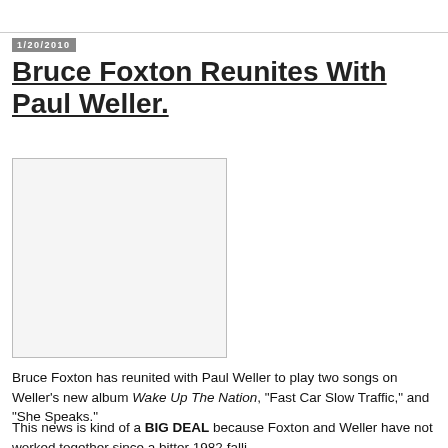1/20/2010
Bruce Foxton Reunites With Paul Weller.
[Figure (photo): Image placeholder box (empty white/light gray rectangle)]
Bruce Foxton has reunited with Paul Weller to play two songs on Weller's new album Wake Up The Nation, "Fast Car Slow Traffic," and "She Speaks."
This news is kind of a BIG DEAL because Foxton and Weller have not worked together since a bitter 1982 falling